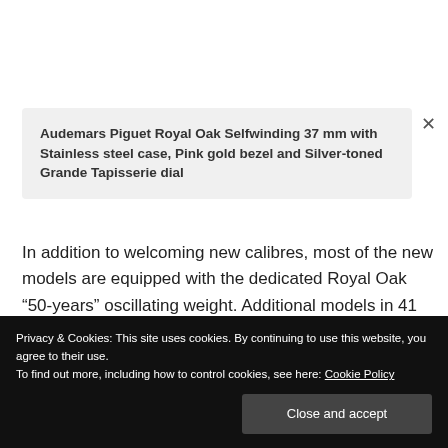Audemars Piguet Royal Oak Selfwinding 37 mm with Stainless steel case, Pink gold bezel and Silver-toned Grande Tapisserie dial
In addition to welcoming new calibres, most of the new models are equipped with the dedicated Royal Oak “50-years” oscillating weight. Additional models in 41 and 34 mm will be available in the second half of 2022.
Privacy & Cookies: This site uses cookies. By continuing to use this website, you agree to their use.
To find out more, including how to control cookies, see here: Cookie Policy
Close and accept